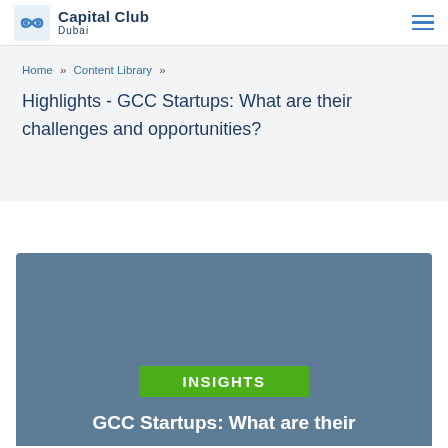Capital Club Dubai
Home » Content Library »
Highlights - GCC Startups: What are their challenges and opportunities?
[Figure (illustration): Blue-grey card with green INSIGHTS badge and white text reading 'GCC Startups: What are their']